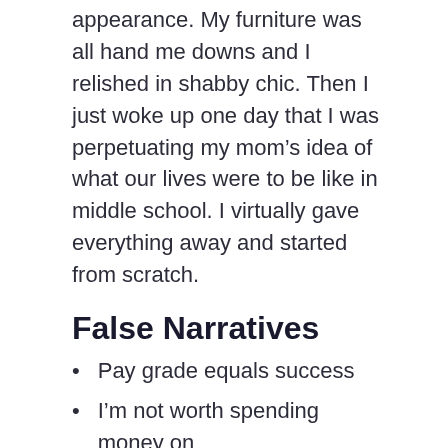appearance. My furniture was all hand me downs and I relished in shabby chic. Then I just woke up one day that I was perpetuating my mom’s idea of what our lives were to be like in middle school. I virtually gave everything away and started from scratch.
False Narratives
Pay grade equals success
I’m not worth spending money on
The speaker suggested we combat false narratives like our self-worth by asking the questions below: